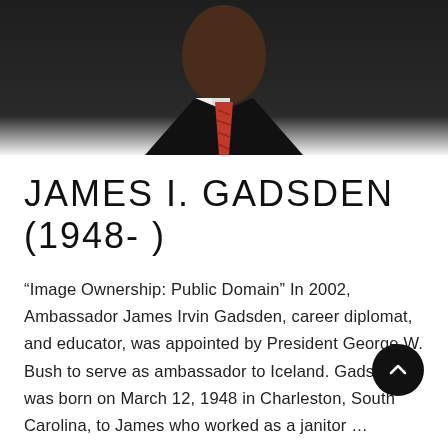[Figure (photo): Photo of James I. Gadsden, a man wearing a dark suit and red patterned tie, photographed from the chest up. The lower portion fades into the white background.]
JAMES I. GADSDEN (1948- )
“Image Ownership: Public Domain” In 2002, Ambassador James Irvin Gadsden, career diplomat, and educator, was appointed by President George W. Bush to serve as ambassador to Iceland. Gadsden was born on March 12, 1948 in Charleston, South Carolina, to James who worked as a janitor …
READ MORE